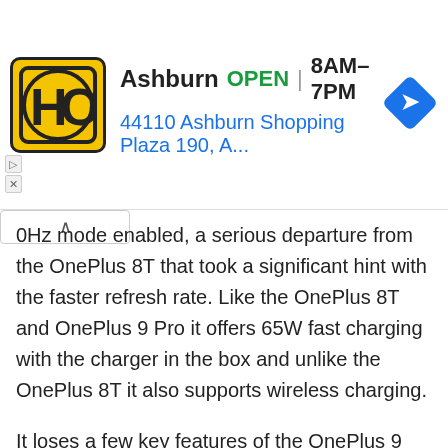[Figure (screenshot): Advertisement banner for HC (Hajoca) showing Ashburn location: OPEN 8AM-7PM, 44110 Ashburn Shopping Plaza 190, A... with a turn-by-turn navigation arrow icon and HC yellow logo]
0Hz mode enabled, a serious departure from the OnePlus 8T that took a significant hint with the faster refresh rate. Like the OnePlus 8T and OnePlus 9 Pro it offers 65W fast charging with the charger in the box and unlike the OnePlus 8T it also supports wireless charging.
It loses a few key features of the OnePlus 9 Pro such as the brand new Sony IMX789 sensor main wide-angle sensor, the 3.3x telephoto lens and the adaptive 120Hz display. However, it has the identical 50MP ultra-wide sensor along with the same new Hasselblad color science applied to its cameras that have impressed us so far. If photography and videography are less crucial to you the OnePlus 9 delivers an otherwise nearly identical experience to its pricier sibling